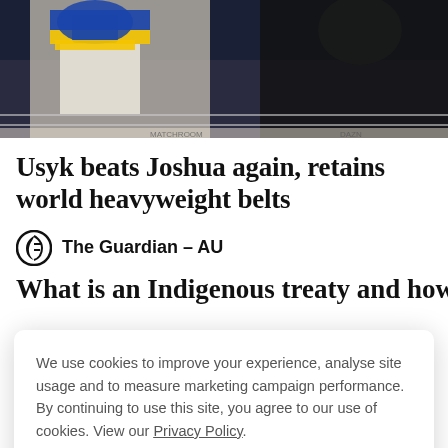[Figure (photo): Boxing match photo showing fighters in a ring, one wearing blue and yellow colors]
Usyk beats Joshua again, retains world heavyweight belts
The Guardian – AU
What is an Indigenous treaty and how
We use cookies to improve your experience, analyse site usage and to measure marketing campaign performance. By continuing to use this site, you agree to our use of cookies. View our Privacy Policy.
ACCEPT
RBA to discuss climate change risk